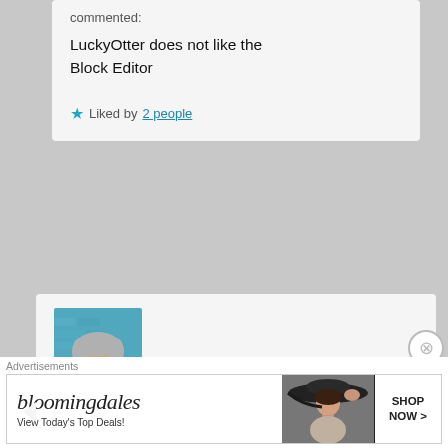commented:
LuckyOtter does not like the Block Editor
★ Liked by 2 people
[Figure (photo): Avatar photo of mitchteemley: older man with gray/white hair against a teal/blue brick wall background, wearing a dark maroon shirt and light jacket]
mitchteemley on September 4, 2020 at 10:51 pm said:
Preach it!
★ Liked by 2 people
Advertisements
[Figure (other): Bloomingdale's advertisement banner: logo on left, model in large brimmed hat in center, 'SHOP NOW >' button on right, tagline 'View Today's Top Deals!']